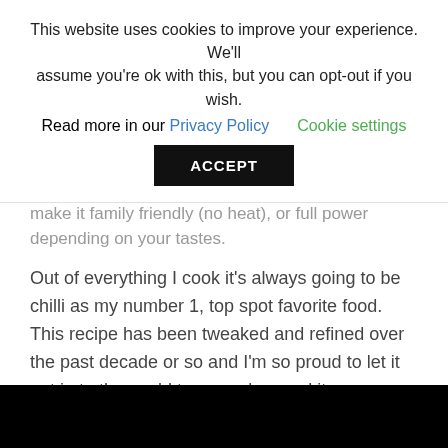This website uses cookies to improve your experience. We'll assume you're ok with this, but you can opt-out if you wish. Read more in our Privacy Policy   Cookie settings
ACCEPT
make it family friendly (no heat), or full power depending on your tastes.
Out of everything I cook it's always going to be chilli as my number 1, top spot favorite food. This recipe has been tweaked and refined over the past decade or so and I'm so proud to let it out in to the world to go and spread its veganistic joy to you all. And yes, that totally is a word now.
[Figure (photo): Black rectangular image strip at the bottom of the page]